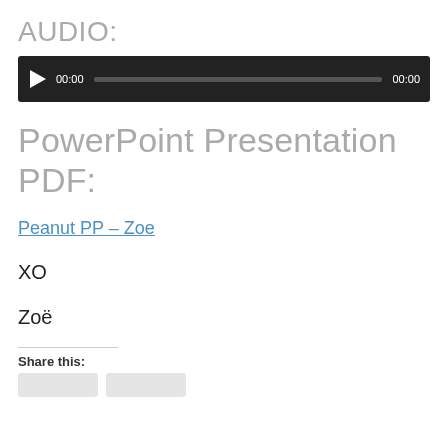AUDIO:
[Figure (other): Audio player widget with play button, time display 00:00, progress bar, and end time 00:00 on dark background]
PowerPoint Presentation PDF:
Peanut PP – Zoe
XO
Zoë
Share this: